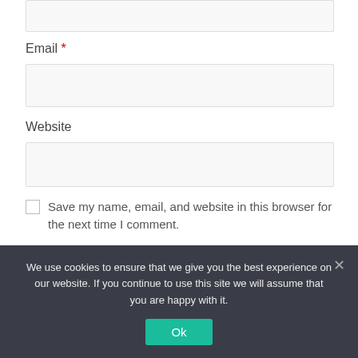[Figure (screenshot): Empty text input box at top of form]
Email *
[Figure (screenshot): Empty email input field]
Website
[Figure (screenshot): Empty website input field]
Save my name, email, and website in this browser for the next time I comment.
[Figure (screenshot): Red submit button (partially visible)]
We use cookies to ensure that we give you the best experience on our website. If you continue to use this site we will assume that you are happy with it.
Ok